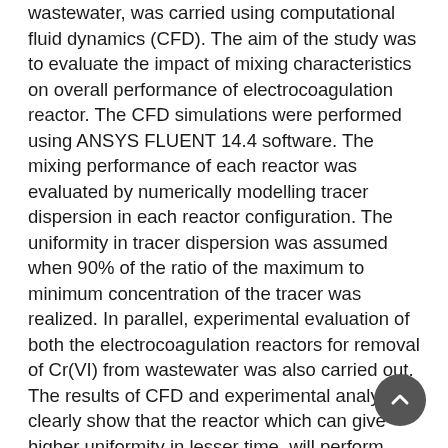wastewater, was carried using computational fluid dynamics (CFD). The aim of the study was to evaluate the impact of mixing characteristics on overall performance of electrocoagulation reactor. The CFD simulations were performed using ANSYS FLUENT 14.4 software. The mixing performance of each reactor was evaluated by numerically modelling tracer dispersion in each reactor configuration. The uniformity in tracer dispersion was assumed when 90% of the ratio of the maximum to minimum concentration of the tracer was realized. In parallel, experimental evaluation of both the electrocoagulation reactors for removal of Cr(VI) from wastewater was also carried out. The results of CFD and experimental analysis clearly show that the reactor which can give higher uniformity in lesser time, will perform better as an electrocoagulation reactor for removal of Cr(VI) from wastewater.